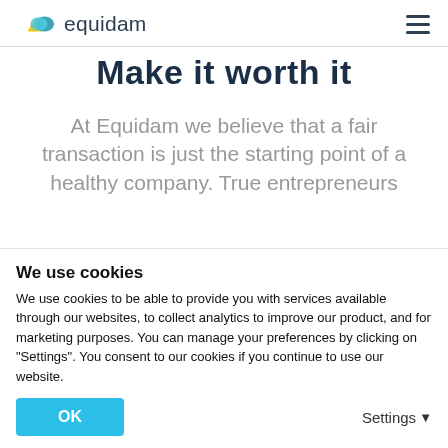equidam
Make it worth it
At Equidam we believe that a fair transaction is just the starting point of a healthy company. True entrepreneurs
We use cookies
We use cookies to be able to provide you with services available through our websites, to collect analytics to improve our product, and for marketing purposes. You can manage your preferences by clicking on "Settings". You consent to our cookies if you continue to use our website.
OK
Settings